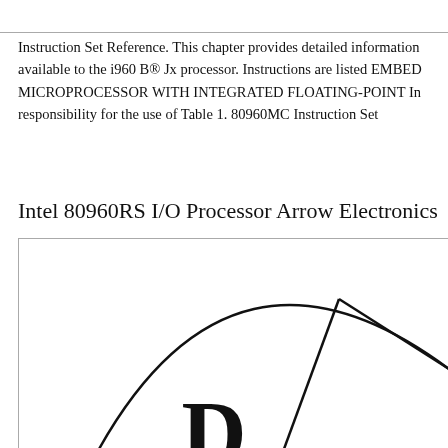Instruction Set Reference. This chapter provides detailed information available to the i960 B® Jx processor. Instructions are listed MICROPROCESSOR WITH INTEGRATED FLOATING-POINT responsibility for the use of Table 1. 80960MC Instruction Set
Intel 80960RS I/O Processor Arrow Electronics
[Figure (engineering-diagram): Partial circular engineering diagram showing curved and straight lines forming sectors or sections, with a large bold letter visible at the bottom center, partially cropped. Appears to be a logo or schematic diagram of the Intel 80960RS processor.]